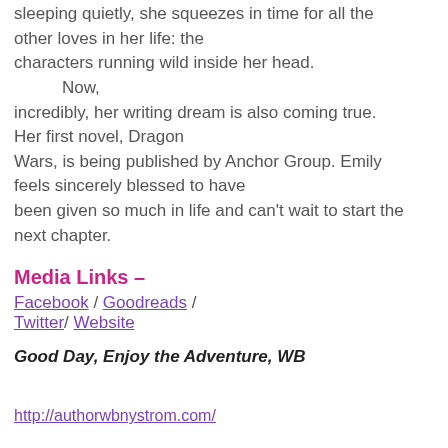sleeping quietly, she squeezes in time for all the other loves in her life: the characters running wild inside her head.
    Now, incredibly, her writing dream is also coming true. Her first novel, Dragon Wars, is being published by Anchor Group. Emily feels sincerely blessed to have been given so much in life and can't wait to start the next chapter.
Media Links –
Facebook / Goodreads / Twitter/ Website
Good Day, Enjoy the Adventure, WB
http://authorwbnystrom.com/